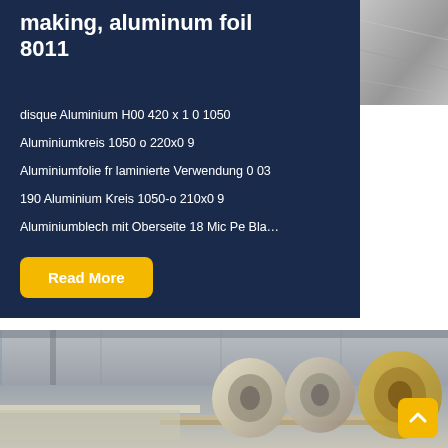making, aluminum foil 8011
disque Aluminium H00 420 x 1 0 1050
Aluminiumkreis 1050 o 220x0 9
Aluminiumfolie fr laminierte Verwendung 0 03
190 Aluminium Kreis 1050-o 210x0 9
Aluminiumblech mit Oberseite 18 Mic Pe Bla…
[Figure (photo): Gray metallic aluminum surface close-up, top right corner]
[Figure (photo): Warehouse interior showing large rolls of aluminum coil on pallets]